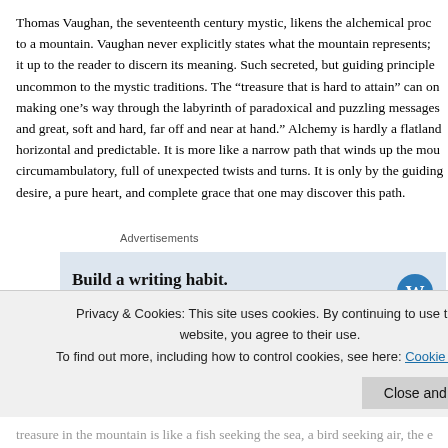Thomas Vaughan, the seventeenth century mystic, likens the alchemical process to a mountain. Vaughan never explicitly states what the mountain represents; it up to the reader to discern its meaning. Such secreted, but guiding principles uncommon to the mystic traditions. The “treasure that is hard to attain” can on making one’s way through the labyrinth of paradoxical and puzzling messages and great, soft and hard, far off and near at hand.” Alchemy is hardly a flatland horizontal and predictable. It is more like a narrow path that winds up the mou circumambulatory, full of unexpected twists and turns. It is only by the guiding desire, a pure heart, and complete grace that one may discover this path.
Advertisements
[Figure (other): Advertisement for WordPress app: 'Build a writing habit. Post on the go.' with GET THE APP call to action and WordPress logo]
REPORT THIS AD
On the other hand, it is no mystery why Vaughan chose the mountain for his a by their verticality, height, and inaccessibility, mountains evoke fear and awe. shortages of extremes here. No lack of blizzards, thunderstorms, and avalanc
Privacy & Cookies: This site uses cookies. By continuing to use this website, you agree to their use.
To find out more, including how to control cookies, see here: Cookie Policy
Close and accept
treasure in the mountain is like a fish seeking the sea, a bird seeking air, the e